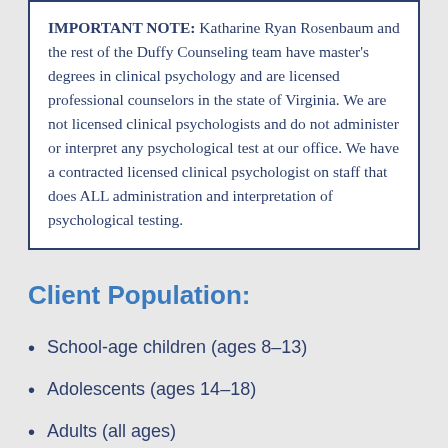IMPORTANT NOTE: Katharine Ryan Rosenbaum and the rest of the Duffy Counseling team have master's degrees in clinical psychology and are licensed professional counselors in the state of Virginia. We are not licensed clinical psychologists and do not administer or interpret any psychological test at our office. We have a contracted licensed clinical psychologist on staff that does ALL administration and interpretation of psychological testing.
Client Population:
School-age children (ages 8-13)
Adolescents (ages 14-18)
Adults (all ages)